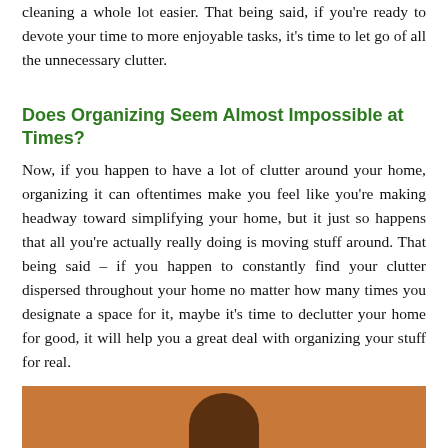cleaning a whole lot easier. That being said, if you're ready to devote your time to more enjoyable tasks, it's time to let go of all the unnecessary clutter.
Does Organizing Seem Almost Impossible at Times?
Now, if you happen to have a lot of clutter around your home, organizing it can oftentimes make you feel like you're making headway toward simplifying your home, but it just so happens that all you're actually really doing is moving stuff around. That being said – if you happen to constantly find your clutter dispersed throughout your home no matter how many times you designate a space for it, maybe it's time to declutter your home for good, it will help you a great deal with organizing your stuff for real.
[Figure (photo): A person partially visible at the bottom of the page, photographed against a warm brown/orange background.]